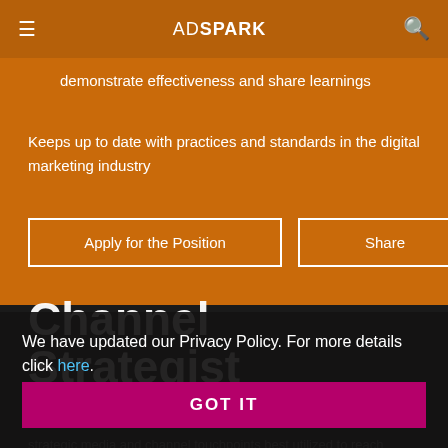ADSPARK
demonstrate effectiveness and share learnings
Keeps up to date with practices and standards in the digital marketing industry
Apply for the Position
Share
Channel Strategist
We have updated our Privacy Policy. For more details click here.
GOT IT
strategic media and channel touchpoints best utilized to reach